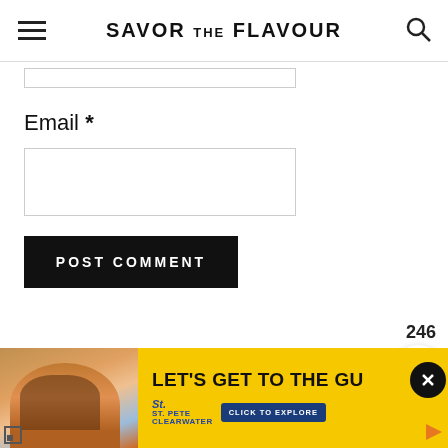SAVOR THE FLAVOUR
Email *
POST COMMENT
246
[Figure (photo): Ad banner with woman in sunglasses at pool, St. Pete Clearwater advertisement reading LET'S GET TO THE GU...]
LET'S GET TO THE GU...
ST. PETE CLEARWATER — CLICK TO EXPLORE